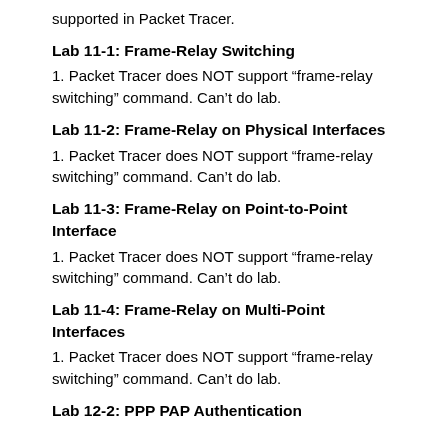supported in Packet Tracer.
Lab 11-1: Frame-Relay Switching
1. Packet Tracer does NOT support “frame-relay switching” command. Can’t do lab.
Lab 11-2: Frame-Relay on Physical Interfaces
1. Packet Tracer does NOT support “frame-relay switching” command. Can’t do lab.
Lab 11-3: Frame-Relay on Point-to-Point Interface
1. Packet Tracer does NOT support “frame-relay switching” command. Can’t do lab.
Lab 11-4: Frame-Relay on Multi-Point Interfaces
1. Packet Tracer does NOT support “frame-relay switching” command. Can’t do lab.
Lab 12-2: PPP PAP Authentication